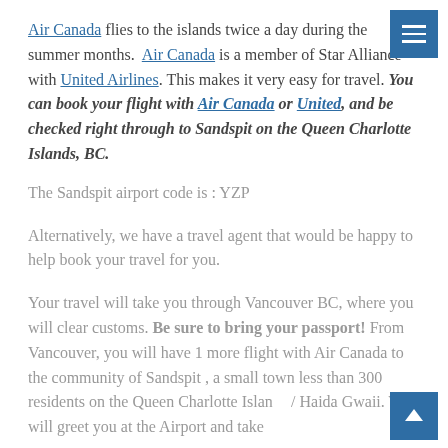Air Canada flies to the islands twice a day during the summer months. Air Canada is a member of Star Alliance with United Airlines. This makes it very easy for travel. You can book your flight with Air Canada or United, and be checked right through to Sandspit on the Queen Charlotte Islands, BC.
The Sandspit airport code is : YZP
Alternatively, we have a travel agent that would be happy to help book your travel for you.
Your travel will take you through Vancouver BC, where you will clear customs. Be sure to bring your passport! From Vancouver, you will have 1 more flight with Air Canada to the community of Sandspit , a small town less than 300 residents on the Queen Charlotte Islands / Haida Gwaii. We will greet you at the Airport and take